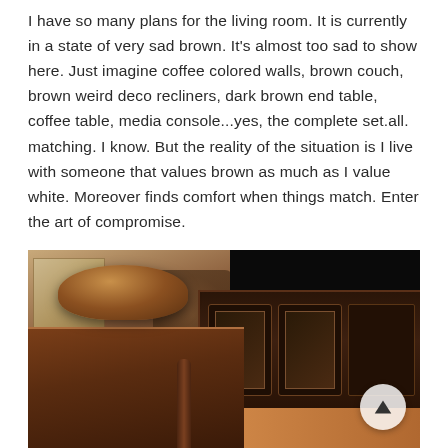I have so many plans for the living room. It is currently in a state of very sad brown. It's almost too sad to show here. Just imagine coffee colored walls, brown couch, brown weird deco recliners, dark brown end table, coffee table, media console...yes, the complete set.all. matching. I know. But the reality of the situation is I live with someone that values brown as much as I value white. Moreover finds comfort when things match. Enter the art of compromise.
[Figure (photo): Interior photo of a brown living room showing a dark wooden coffee table with a large brown bowl on top, and a dark brown media console/cabinet with glass-paneled doors. A TV is visible in the upper right corner. The floor appears to be hardwood in a reddish-brown tone. A navigation arrow button is visible in the lower right.]